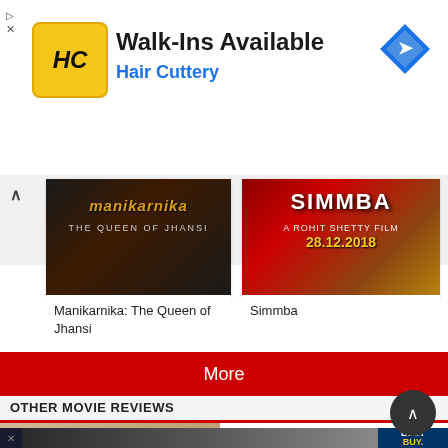[Figure (screenshot): Hair Cuttery advertisement banner with HC logo, Walk-Ins Available text, blue navigation arrow icon]
[Figure (screenshot): Movie card for Manikarnika: The Queen of Jhansi with dark movie poster thumbnail]
Manikarnika: The Queen of Jhansi
[Figure (screenshot): Movie card for Simmba with red/gold Rohit Shetty Film poster thumbnail showing 28.12.2018]
Simmba
More
OTHER MOVIE REVIEWS
[Figure (photo): Panchatantra Kathalu movie thumbnail showing group of people]
Panchatantra Kathalu (
Telugu )
[Figure (screenshot): Best Buy advertisement banner at bottom with VDX.TV label]